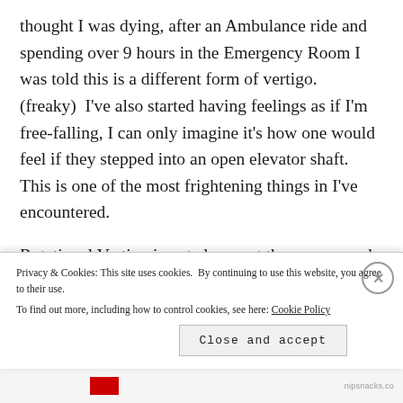thought I was dying, after an Ambulance ride and spending over 9 hours in the Emergency Room I was told this is a different form of vertigo. (freaky) I've also started having feelings as if I'm free-falling, I can only imagine it's how one would feel if they stepped into an open elevator shaft. This is one of the most frightening things in I've encountered.
Rotational Vertigo is not always at the same speed. Sometimes I see my surroundings spinning by in just
Privacy & Cookies: This site uses cookies. By continuing to use this website, you agree to their use.
To find out more, including how to control cookies, see here: Cookie Policy
Close and accept
nipsnacks.co